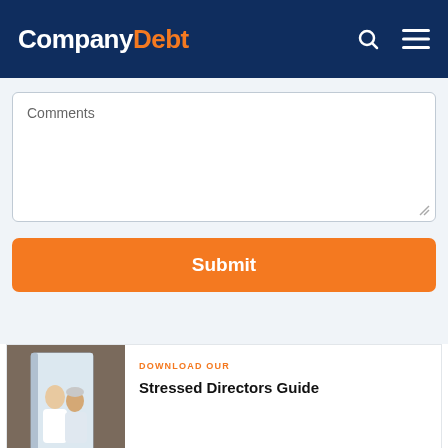CompanyDebt
Comments
Submit
DOWNLOAD OUR
[Figure (photo): Two men, one younger and one older, appearing to be in a professional setting. Used as cover image for a guide.]
Stressed Directors Guide